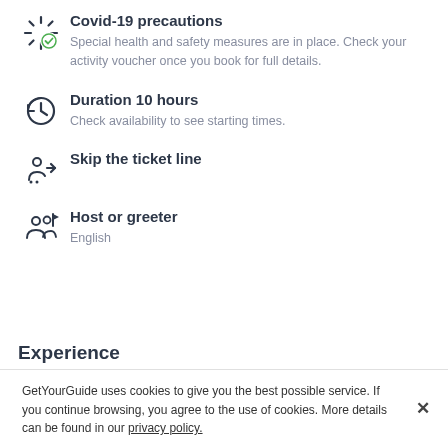Covid-19 precautions
Special health and safety measures are in place. Check your activity voucher once you book for full details.
Duration 10 hours
Check availability to see starting times.
Skip the ticket line
Host or greeter
English
Experience
GetYourGuide uses cookies to give you the best possible service. If you continue browsing, you agree to the use of cookies. More details can be found in our privacy policy.